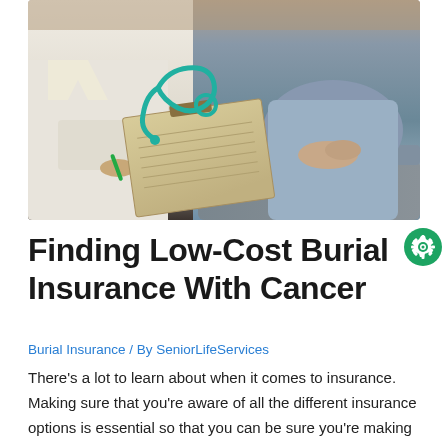[Figure (photo): A doctor in a white coat holding a pen and writing on a clipboard with a teal stethoscope resting on it, consulting with a patient (woman in light blue/grey clothing with hands folded) seated on a grey couch.]
Finding Low-Cost Burial Insurance With Cancer
Burial Insurance / By SeniorLifeServices
There's a lot to learn about when it comes to insurance. Making sure that you're aware of all the different insurance options is essential so that you can be sure you're making the right choice. Coming up with the best policy choices means that you need to